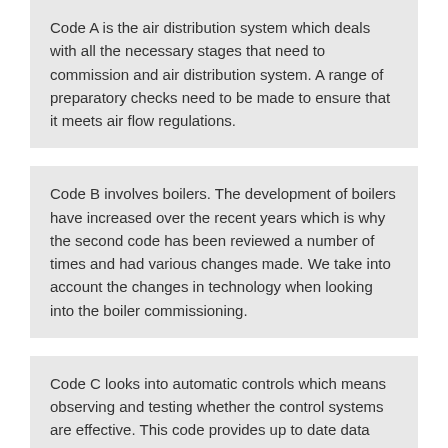Code A is the air distribution system which deals with all the necessary stages that need to commission and air distribution system. A range of preparatory checks need to be made to ensure that it meets air flow regulations.
Code B involves boilers. The development of boilers have increased over the recent years which is why the second code has been reviewed a number of times and had various changes made. We take into account the changes in technology when looking into the boiler commissioning.
Code C looks into automatic controls which means observing and testing whether the control systems are effective. This code provides up to date data and details on the controls with recommendations and advice.
Code L is the fourth CIBSE code and focuses on lighting. Commissioning lighting is crucial for the requirements of new buildings and major refurbishments under the Building Regulations Part L 2. The lighting commissioning code is one of